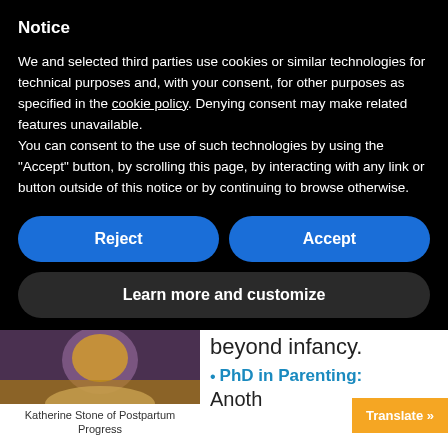Notice
We and selected third parties use cookies or similar technologies for technical purposes and, with your consent, for other purposes as specified in the cookie policy. Denying consent may make related features unavailable.
You can consent to the use of such technologies by using the "Accept" button, by scrolling this page, by interacting with any link or button outside of this notice or by continuing to browse otherwise.
Reject
Accept
Learn more and customize
[Figure (photo): Partial photo of Katherine Stone of Postpartum Progress]
Katherine Stone of Postpartum Progress
beyond infancy.
PhD in Parenting:
Anoth
Translate »